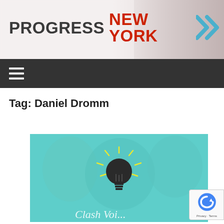PROGRESS NEW YORK
[Figure (logo): Progress New York logo with bold dark text for PROGRESS and red text for NEW YORK, followed by blue double chevron arrows on right]
Tag: Daniel Dromm
[Figure (photo): Teal/cyan tinted image of people with a lightbulb icon and partial text reading 'Clash Voi...' at the bottom]